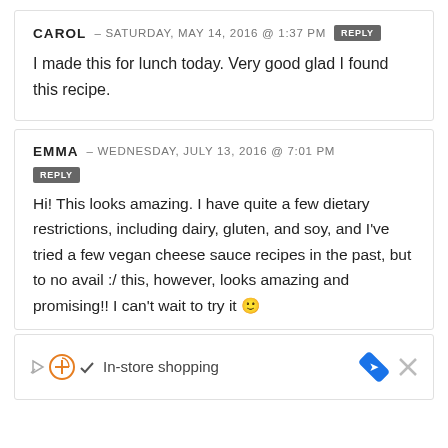CAROL – SATURDAY, MAY 14, 2016 @ 1:37 PM [REPLY]
I made this for lunch today. Very good glad I found this recipe.
EMMA – WEDNESDAY, JULY 13, 2016 @ 7:01 PM [REPLY]
Hi! This looks amazing. I have quite a few dietary restrictions, including dairy, gluten, and soy, and I've tried a few vegan cheese sauce recipes in the past, but to no avail :/ this, however, looks amazing and promising!! I can't wait to try it 🙂
[Figure (screenshot): Advertisement bar showing in-store shopping with icons]